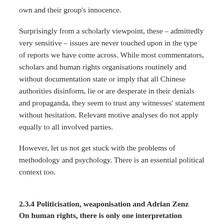own and their group's innocence.
Surprisingly from a scholarly viewpoint, these – admittedly very sensitive – issues are never touched upon in the type of reports we have come across. While most commentators, scholars and human rights organisations routinely and without documentation state or imply that all Chinese authorities disinform, lie or are desperate in their denials and propaganda, they seem to trust any witnesses' statement without hesitation. Relevant motive analyses do not apply equally to all involved parties.
However, let us not get stuck with the problems of methodology and psychology. There is an essential political context too.
2.3.4 Politicisation, weaponisation and Adrian Zenz
On human rights, there is only one interpretation